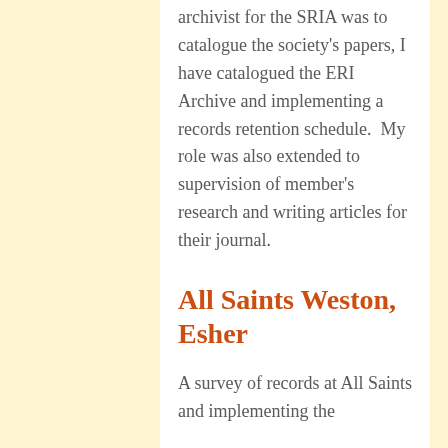archivist for the SRIA was to catalogue the society's papers, I have catalogued the ERI Archive and implementing a records retention schedule.  My role was also extended to supervision of member's research and writing articles for their journal.
All Saints Weston, Esher
A survey of records at All Saints and implementing the